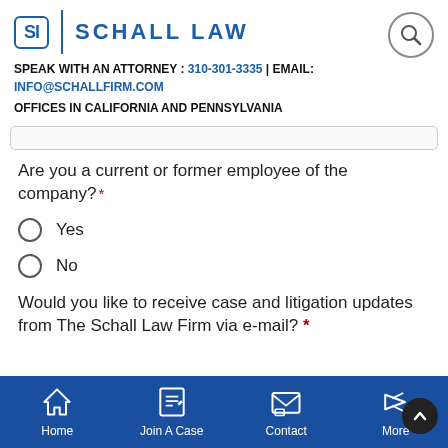[Figure (logo): Schall Law firm logo with 'SL' in a rounded square box and text 'SCHALL LAW']
SPEAK WITH AN ATTORNEY : 310-301-3335 | EMAIL: INFO@SCHALLFIRM.COM
OFFICES IN CALIFORNIA AND PENNSYLVANIA
Are you a current or former employee of the company? *
Yes
No
Would you like to receive case and litigation updates from The Schall Law Firm via e-mail? *
[Figure (screenshot): Bottom navigation bar with Home, Join A Case, Contact, and More icons on dark blue background]